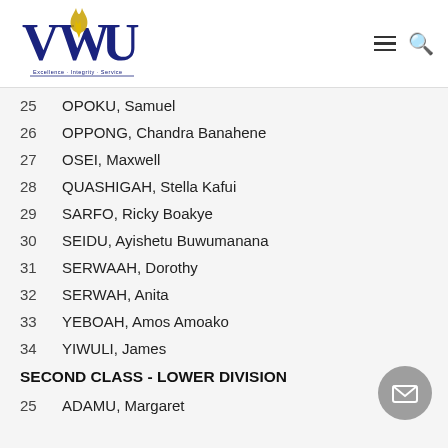VWU logo with navigation icons
25  OPOKU, Samuel
26  OPPONG, Chandra Banahene
27  OSEI, Maxwell
28  QUASHIGAH, Stella Kafui
29  SARFO, Ricky Boakye
30  SEIDU, Ayishetu Buwumanana
31  SERWAAH, Dorothy
32  SERWAH, Anita
33  YEBOAH, Amos Amoako
34  YIWULI, James
SECOND CLASS - LOWER DIVISION
25  ADAMU, Margaret